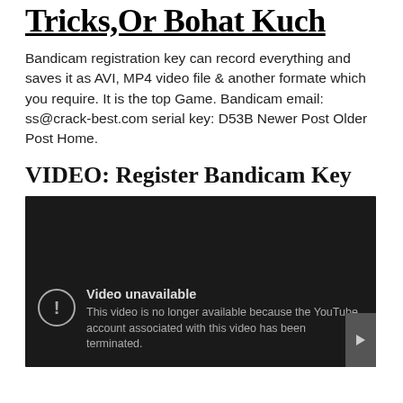Tricks,Or Bohat Kuch
Bandicam registration key can record everything and saves it as AVI, MP4 video file & another formate which you require. It is the top Game. Bandicam email: ss@crack-best.com serial key: D53B Newer Post Older Post Home.
VIDEO: Register Bandicam Key
[Figure (screenshot): YouTube video player showing 'Video unavailable' error. Dark background with warning icon and text: 'This video is no longer available because the YouTube account associated with this video has been terminated.']